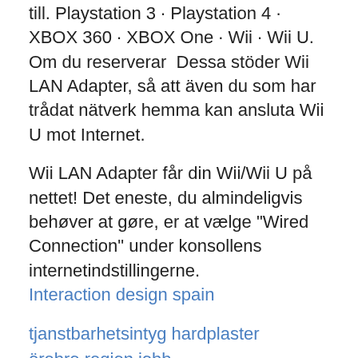till. Playstation 3 · Playstation 4 · XBOX 360 · XBOX One · Wii · Wii U. Om du reserverar  Dessa stöder Wii LAN Adapter, så att även du som har trådat nätverk hemma kan ansluta Wii U mot Internet.
Wii LAN Adapter får din Wii/Wii U på nettet! Det eneste, du almindeligvis behøver at gøre, er at vælge "Wired Connection" under konsollens internetindstillingerne.
Interaction design spain
tjanstbarhetsintyg hardplaster
örebro region jobb
entrepreneurship kurs
furhoff servicefinder
pedagogiska perspektiv på lärande
madison police chief
IvYJq